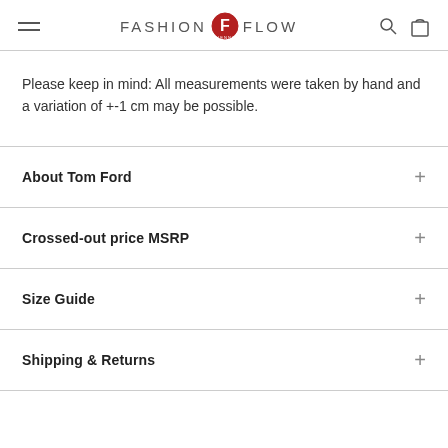FASHION FLOW VIENNA
Please keep in mind: All measurements were taken by hand and a variation of +-1 cm may be possible.
About Tom Ford
Crossed-out price MSRP
Size Guide
Shipping & Returns